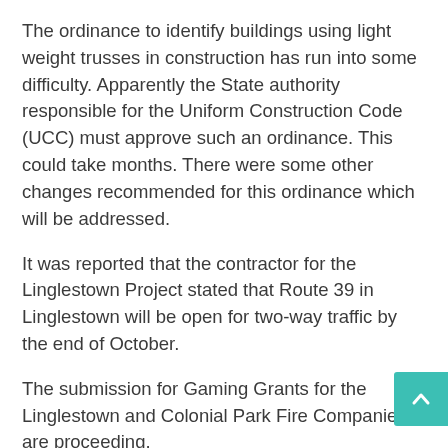The ordinance to identify buildings using light weight trusses in construction has run into some difficulty. Apparently the State authority responsible for the Uniform Construction Code (UCC) must approve such an ordinance. This could take months. There were some other changes recommended for this ordinance which will be addressed.
It was reported that the contractor for the Linglestown Project stated that Route 39 in Linglestown will be open for two-way traffic by the end of October.
The submission for Gaming Grants for the Linglestown and Colonial Park Fire Companies are proceeding.
A submission for a Gaming Grant for pre-emptive signalization is in process.
Under other business, it was reported that West Hanover residents are being billed for emergency response in West Hanover Township even if the responders are from Lower